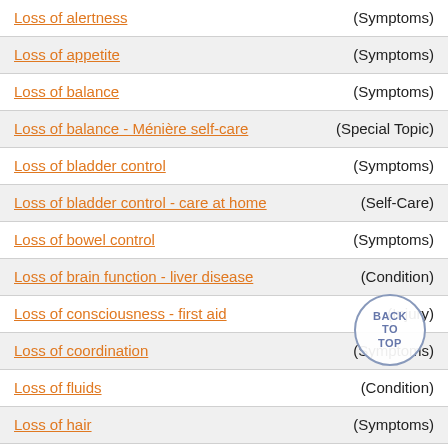| Topic | Type |
| --- | --- |
| Loss of alertness | (Symptoms) |
| Loss of appetite | (Symptoms) |
| Loss of balance | (Symptoms) |
| Loss of balance - Ménière self-care | (Special Topic) |
| Loss of bladder control | (Symptoms) |
| Loss of bladder control - care at home | (Self-Care) |
| Loss of bowel control | (Symptoms) |
| Loss of brain function - liver disease | (Condition) |
| Loss of consciousness - first aid | (Injury) |
| Loss of coordination | (Symptoms) |
| Loss of fluids | (Condition) |
| Loss of hair | (Symptoms) |
| Loss of hearing | (Symptoms) |